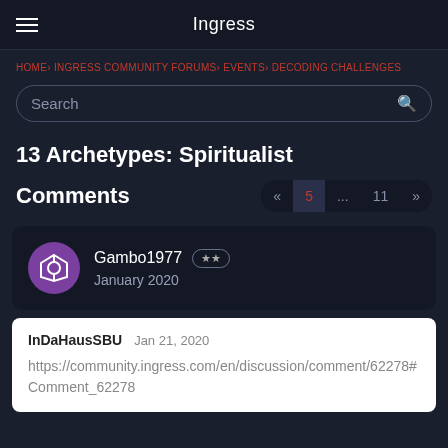Ingress
HOME› INGRESS COMMUNITY FORUMS› EVENTS› DECODING CHALLENGES
13 Archetypes: Spiritualist
Comments
Gambo1977 ★★ January 2020
InDaHausSBU Jan 21, 2020 https://community.ingress.com/en/discussion/comment/62278#Comment_62278